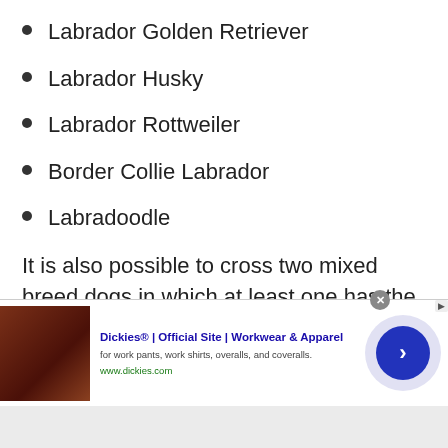Labrador Golden Retriever
Labrador Husky
Labrador Rottweiler
Border Collie Labrador
Labradoodle
It is also possible to cross two mixed breed dogs in which at least one has the genes of a Labrador.
[Figure (screenshot): Advertisement banner: Dickies® | Official Site | Workwear & Apparel. Shows product image, ad title, subtitle 'for work pants, work shirts, overalls, and coveralls.', URL www.dickies.com, and a navigation arrow button.]